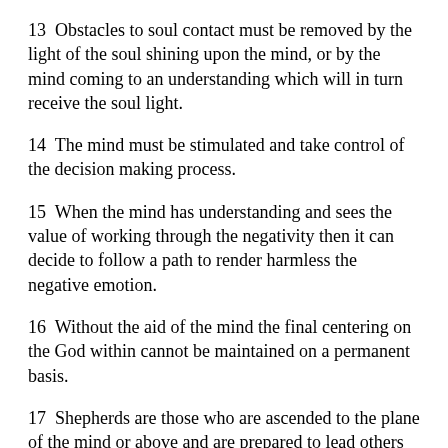13  Obstacles to soul contact must be removed by the light of the soul shining upon the mind, or by the mind coming to an understanding which will in turn receive the soul light.
14  The mind must be stimulated and take control of the decision making process.
15  When the mind has understanding and sees the value of working through the negativity then it can decide to follow a path to render harmless the negative emotion.
16  Without the aid of the mind the final centering on the God within cannot be maintained on a permanent basis.
17  Shepherds are those who are ascended to the plane of the mind or above and are prepared to lead others to greater learning and direction.